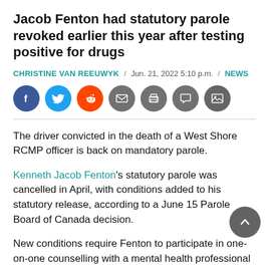Jacob Fenton had statutory parole revoked earlier this year after testing positive for drugs
CHRISTINE VAN REEUWYK / Jun. 21, 2022 5:10 p.m. / NEWS
[Figure (other): Social media share buttons: Facebook, Twitter, Reddit, Email, Print, Comment, Image]
The driver convicted in the death of a West Shore RCMP officer is back on mandatory parole.
Kenneth Jacob Fenton's statutory parole was cancelled in April, with conditions added to his statutory release, according to a June 15 Parole Board of Canada decision.
New conditions require Fenton to participate in one-on-one counselling with a mental health professional in the field of emotions management and not associate or communicate